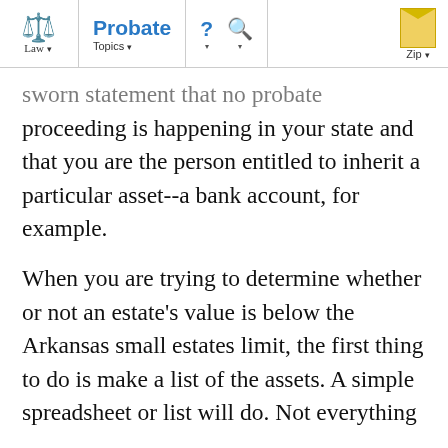Law  Probate  Topics  ?  Q  Zip
sworn statement that no probate proceeding is happening in your state and that you are the person entitled to inherit a particular asset--a bank account, for example.
When you are trying to determine whether or not an estate's value is below the Arkansas small estates limit, the first thing to do is make a list of the assets. A simple spreadsheet or list will do. Not everything